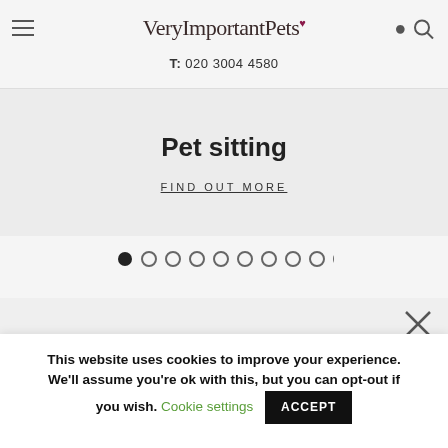VeryImportantPets♥  T: 020 3004 4580
Pet sitting
FIND OUT MORE
[Figure (other): Carousel dot indicators: 10 dots, first filled, rest empty]
[Figure (other): Close X button]
This website uses cookies to improve your experience. We'll assume you're ok with this, but you can opt-out if you wish. Cookie settings  ACCEPT